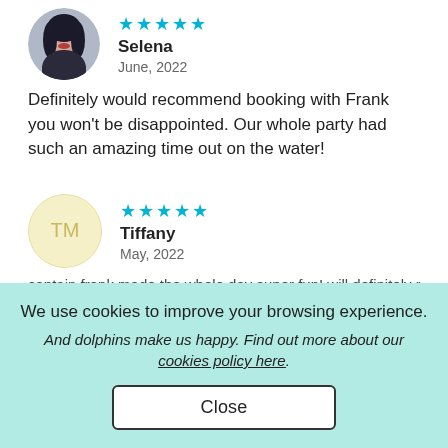[Figure (photo): Circular avatar photo of Selena, a woman with dark wavy hair]
★★★★★ Selena June, 2022
Definitely would recommend booking with Frank you won't be disappointed. Our whole party had such an amazing time out on the water!
[Figure (illustration): Circular avatar with initials TM on yellow background for Tiffany]
★★★★★ Tiffany May, 2022
captain frank made the whole day super fun! will definitely rent
We use cookies to improve your browsing experience.
And dolphins make us happy. Find out more about our cookies policy here.
Close